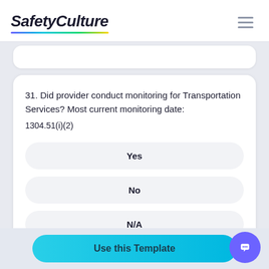SafetyCulture
31. Did provider conduct monitoring for Transportation Services? Most current monitoring date:
1304.51(i)(2)
Yes
No
N/A
Use this Template